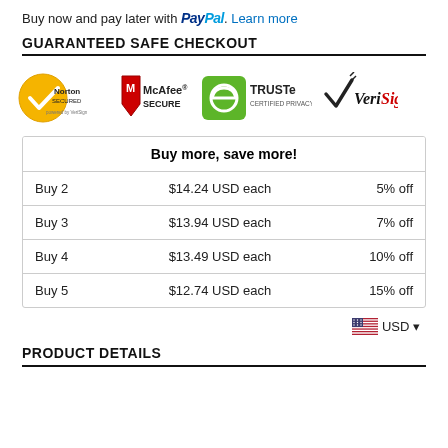Buy now and pay later with PayPal. Learn more
GUARANTEED SAFE CHECKOUT
[Figure (logo): Security badges: Norton Secured (powered by VeriSign), McAfee SECURE, TRUSTe Certified Privacy, VeriSign]
|  |  |  |
| --- | --- | --- |
| Buy more, save more! |  |  |
| Buy 2 | $14.24 USD each | 5% off |
| Buy 3 | $13.94 USD each | 7% off |
| Buy 4 | $13.49 USD each | 10% off |
| Buy 5 | $12.74 USD each | 15% off |
USD
PRODUCT DETAILS